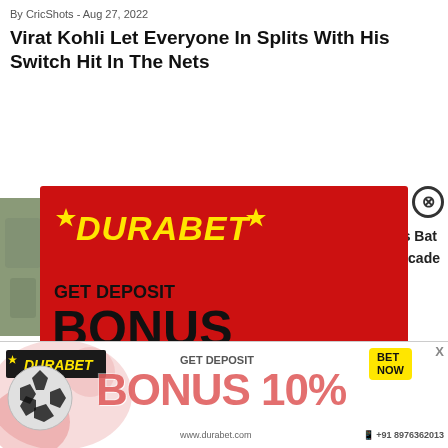By CricShots - Aug 27, 2022
Virat Kohli Let Everyone In Splits With His Switch Hit In The Nets
[Figure (infographic): DURABET red advertisement overlay: GET DEPOSIT BONUS 10% BET NOW +91 8976362013 with soccer ball image]
[Figure (infographic): DURABET bottom banner ad: GET DEPOSIT BONUS 10% BET NOW +91 8976362013 www.durabet.com]